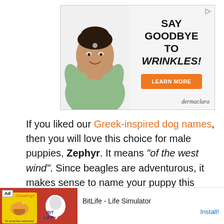[Figure (photo): Advertisement banner for dermaclara skincare. Shows a woman with hands on her face smiling, with text 'SAY GOODBYE TO WRINKLES!' and an orange 'LEARN MORE' button. Brand name 'dermaclara' shown bottom right.]
If you liked our Greek-inspired dog names, then you will love this choice for male puppies, Zephyr. It means "of the west wind". Since beagles are adventurous, it makes sense to name your puppy this way.
[Figure (screenshot): Bottom advertisement bar for BitLife - Life Simulator app. Shows ad label, yellow game icon with muscle/cheating graphic, red BitLife sperm logo icon, app name 'BitLife - Life Simulator', and 'Install!' button.]